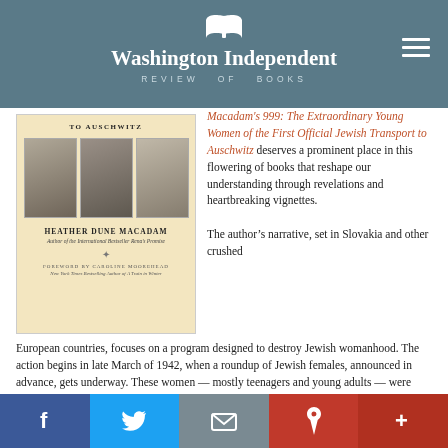Washington Independent Review of Books
[Figure (photo): Book cover of '999: The Extraordinary Young Women of the First Official Jewish Transport to Auschwitz' by Heather Dune Macadam, with foreword by Caroline Moorehead. Shows black and white photos of young women on the cover.]
Macadam's 999: The Extraordinary Young Women of the First Official Jewish Transport to Auschwitz deserves a prominent place in this flowering of books that reshape our understanding through revelations and heartbreaking vignettes.

The author's narrative, set in Slovakia and other crushed European countries, focuses on a program designed to destroy Jewish womanhood. The action begins in late March of 1942, when a roundup of Jewish females, announced in advance, gets underway. These women — mostly teenagers and young adults — were summoned to report to authorities and board an overcrowded train in the town of Poprad.